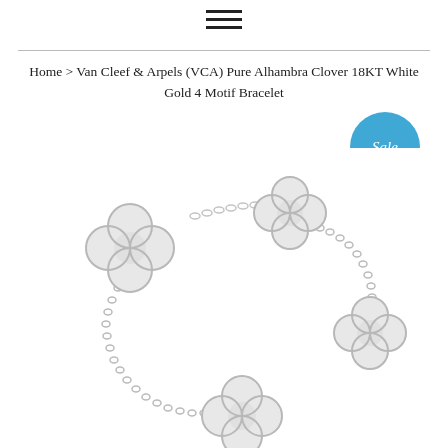[Figure (other): Hamburger menu icon — three horizontal black lines centered at top of page]
Home › Van Cleef & Arpels (VCA) Pure Alhambra Clover 18KT White Gold 4 Motif Bracelet
[Figure (other): Circular teal/blue 'Sale' badge]
[Figure (photo): Product photo of Van Cleef & Arpels Pure Alhambra 18KT White Gold 4 Motif Bracelet on white background, showing four polished white gold clover/quatrefoil motifs connected by a delicate chain.]